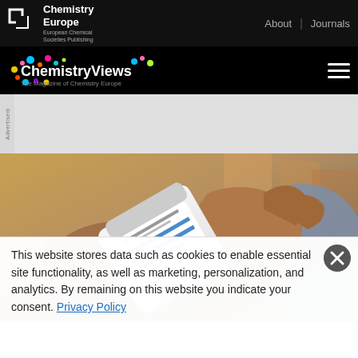Chemistry Europe | About | Journals | European Chemical Societies Publishing
ChemistryViews — The Magazine of Chemistry Europe
[Figure (photo): Hands holding a medication bottle with a label, reading the label, in a pharmacy setting]
This website stores data such as cookies to enable essential site functionality, as well as marketing, personalization, and analytics. By remaining on this website you indicate your consent. Privacy Policy